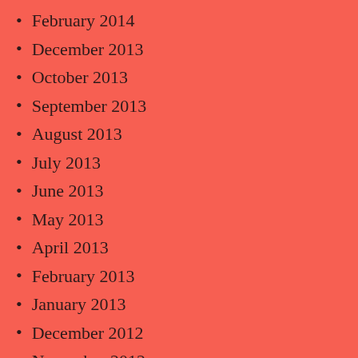February 2014
December 2013
October 2013
September 2013
August 2013
July 2013
June 2013
May 2013
April 2013
February 2013
January 2013
December 2012
November 2012
October 2012
September 2012
August 2012